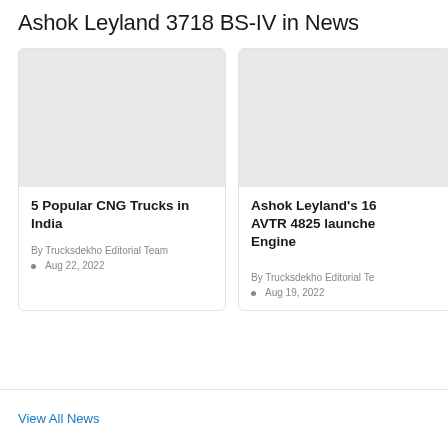Ashok Leyland 3718 BS-IV in News
[Figure (photo): News article thumbnail image placeholder - light grey rectangle for '5 Popular CNG Trucks in India']
5 Popular CNG Trucks in India
By Trucksdekho Editorial Team
• Aug 22, 2022
[Figure (photo): News article thumbnail image placeholder - light grey rectangle for Ashok Leyland's 16L AVTR 4825 article]
Ashok Leyland's 16 AVTR 4825 launches Engine
By Trucksdekho Editorial Te...
• Aug 19, 2022
View All News